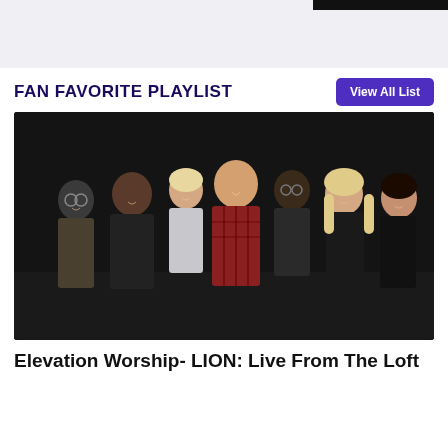[Figure (photo): Top banner area with light gray background and black rectangle in upper right corner]
FAN FAVORITE PLAYLIST
[Figure (photo): Group photo of seven people (Elevation Worship band members) smiling and posing together against a dark/black background]
Elevation Worship- LION: Live From The Loft